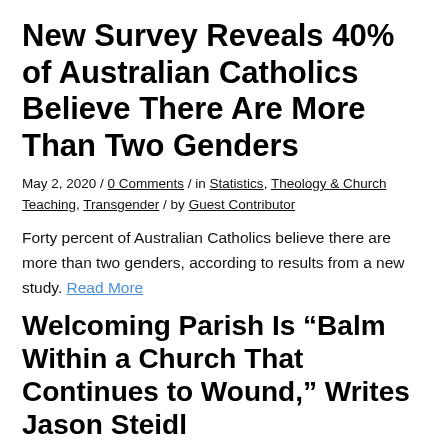New Survey Reveals 40% of Australian Catholics Believe There Are More Than Two Genders
May 2, 2020 / 0 Comments / in Statistics, Theology & Church Teaching, Transgender / by Guest Contributor
Forty percent of Australian Catholics believe there are more than two genders, according to results from a new study. Read More
Welcoming Parish Is “Balm Within a Church That Continues to Wound,” Writes Jason Steidl